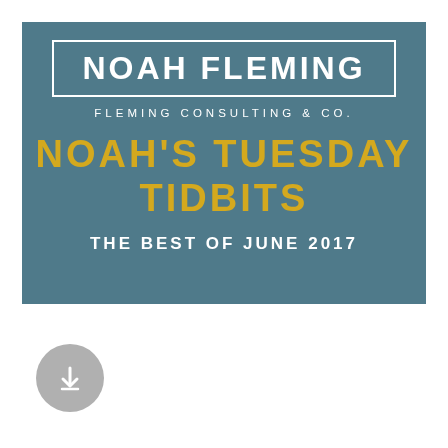[Figure (logo): Noah Fleming / Fleming Consulting & Co. banner with title 'Noah's Tuesday Tidbits - The Best of June 2017' on a steel blue background]
[Figure (other): Download button icon (circular grey button with downward arrow)]